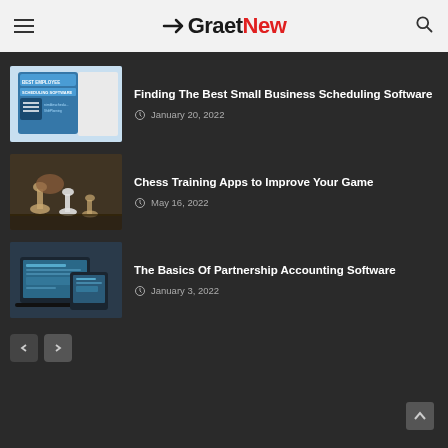GraetNew
Finding The Best Small Business Scheduling Software
January 20, 2022
[Figure (screenshot): Thumbnail image of Best Employee Scheduling Software article with calendar icon and logos]
Chess Training Apps to Improve Your Game
May 16, 2022
[Figure (photo): Thumbnail photo of chess pieces on a board]
The Basics Of Partnership Accounting Software
January 3, 2022
[Figure (screenshot): Thumbnail of accounting software on laptop and tablet screens]